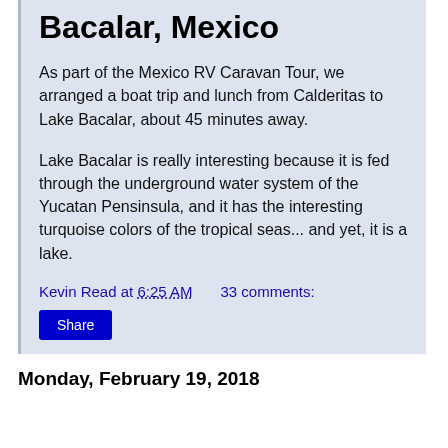Bacalar, Mexico
As part of the Mexico RV Caravan Tour, we arranged a boat trip and lunch from Calderitas to Lake Bacalar, about 45 minutes away.
Lake Bacalar is really interesting because it is fed through the underground water system of the Yucatan Pensinsula, and it has the interesting turquoise colors of the tropical seas... and yet, it is a lake.
Kevin Read at 6:25 AM    33 comments:
Share
Monday, February 19, 2018